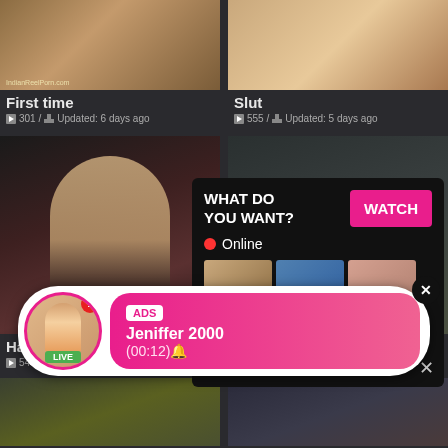[Figure (screenshot): Adult video thumbnail grid showing video categories with titles, view counts, and update times. Overlaid with popup ads including a 'WHAT DO YOU WANT? WATCH' dialog with online indicator and thumbnail images, and a bottom banner ad for 'Jeniffer 2000 (00:12)' marked as ADS with a LIVE badge.]
First time
301 / Updated: 6 days ago
Slut
555 / Updated: 5 days ago
Hardcore
548 /
Teacher
ago
WHAT DO YOU WANT?
WATCH
Online
Cumming, ass fucking, squirt or...
• ADS
ADS
Jeniffer 2000
(00:12)🔔
LIVE